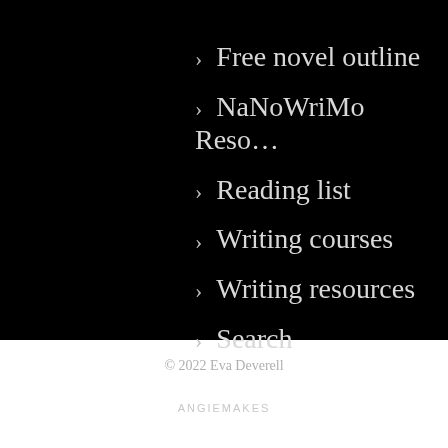> Free novel outline
> NaNoWriMo Reso…
> Reading list
> Writing courses
> Writing resources
> Search
© 2022 Eva Deverell
ANGIEMAKES